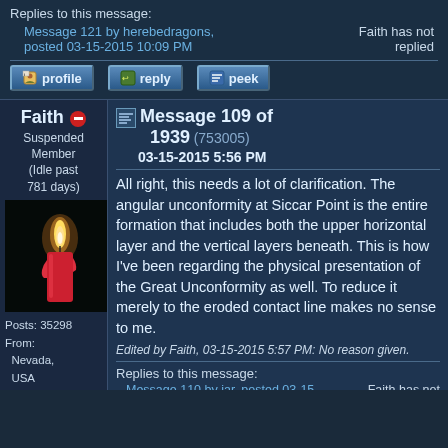Replies to this message:
Message 121 by herebedragons, posted 03-15-2015 10:09 PM
Faith has not replied
[Figure (screenshot): Forum action buttons: profile, reply, peek]
Faith [suspended icon] Suspended Member (Idle past 781 days)
[Figure (photo): Avatar image: lit red candle on black background]
Posts: 35298
From: Nevada, USA
Joined: 10-06-2001
Faith Posts Only
Message 109 of 1939 (753005)
03-15-2015 5:56 PM
All right, this needs a lot of clarification. The angular unconformity at Siccar Point is the entire formation that includes both the upper horizontal layer and the vertical layers beneath. This is how I've been regarding the physical presentation of the Great Unconformity as well. To reduce it merely to the eroded contact line makes no sense to me.
Edited by Faith, 03-15-2015 5:57 PM: No reason given.
Replies to this message:
Message 110 by jar, posted 03-15-2015 6:07 PM
Faith has not replied
Message 132 by Minnemooseus,
Faith has not